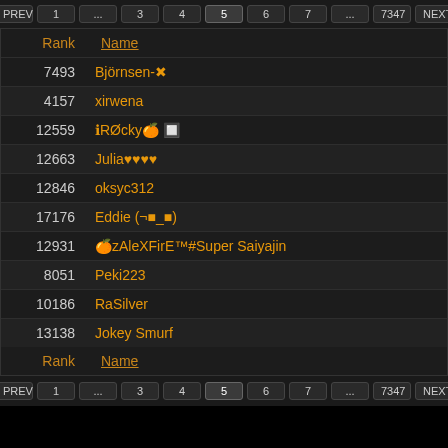PREV 1 ... 3 4 5 6 7 ... 7347 NEXT
| Rank | Name |
| --- | --- |
| 7493 | Björnsen-✖ |
| 4157 | xirwena |
| 12559 | ℹRØcky🍊 🔲 |
| 12663 | Julia♥♥♥♥ |
| 12846 | oksyc312 |
| 17176 | Eddie (¬■_■) |
| 12931 | 🍊zAleXFirE™#Super Saiyajin |
| 8051 | Peki223 |
| 10186 | RaSilver |
| 13138 | Jokey Smurf |
PREV 1 ... 3 4 5 6 7 ... 7347 NEXT